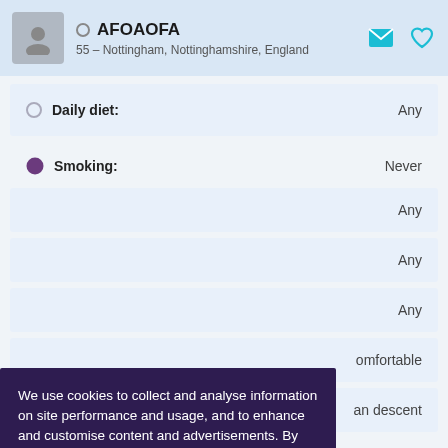[Figure (screenshot): Profile header showing avatar placeholder, username AFOAAOFA, location 55 - Nottingham, Nottinghamshire, England, with email and heart icons]
Daily diet: Any
Smoking: Never
Any
Any
Any
omfortable
an descent
Home language: Any
We use cookies to collect and analyse information on site performance and usage, and to enhance and customise content and advertisements. By clicking "OK" or clicking into any content on this site you agree to allow cookies to be placed. To find out more or to change your cookie settings, visit the cookies section of our Privacy Policy.
OK